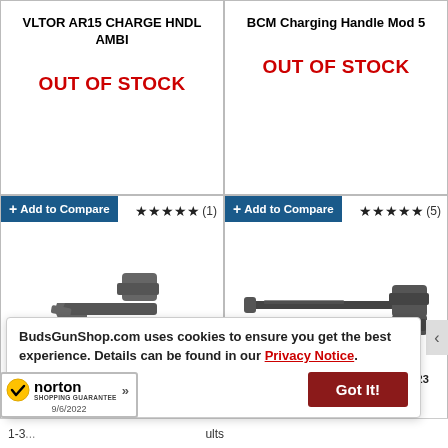VLTOR AR15 CHARGE HNDL AMBI
OUT OF STOCK
BCM Charging Handle Mod 5
OUT OF STOCK
+ Add to Compare
★★★★★ (1)
[Figure (photo): C15 V2 AR15 charging handle, black metal firearm part]
C15 V2 AR15 CHARGING HANDLE BLK
+ Add to Compare
★★★★★ (5)
[Figure (photo): BCM charging handle for 5.56MM/223, MOD A44]
BCM CHARGING HNDL 5.56MM/223 MOD A44
BudsGunShop.com uses cookies to ensure you get the best experience. Details can be found in our Privacy Notice.
Got It!
1-3... results
[Figure (logo): Norton Shopping Guarantee badge with checkmark, dated 9/6/2022]